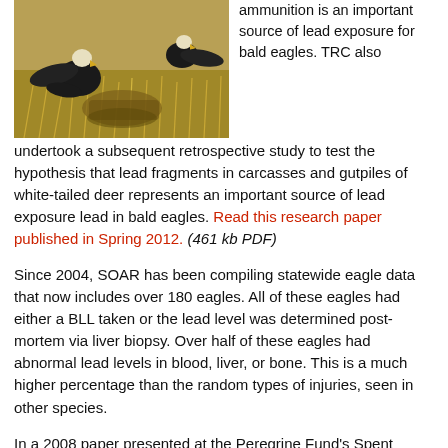[Figure (photo): Two bald eagles feeding on a carcass in a dry grassy field]
ammunition is an important source of lead exposure for bald eagles. TRC also undertook a subsequent retrospective study to test the hypothesis that lead fragments in carcasses and gutpiles of white-tailed deer represents an important source of lead exposure lead in bald eagles. Read this research paper published in Spring 2012. (461 kb PDF)
Since 2004, SOAR has been compiling statewide eagle data that now includes over 180 eagles. All of these eagles had either a BLL taken or the lead level was determined post-mortem via liver biopsy. Over half of these eagles had abnormal lead levels in blood, liver, or bone. This is a much higher percentage than the random types of injuries, seen in other species.
In a 2008 paper presented at the Peregrine Fund's Spent Ammunition Conference, SOAR Executive Director Kay Neumann noted, "...more random events seem to occur at a much lower percentage of the total number of eagles admitted. Gunshot wounds, for example, were recorded in ten of the 82 [those in the database up to the submission of the paper] eagles in this database (12.2%). The data does not indicate that the increasing